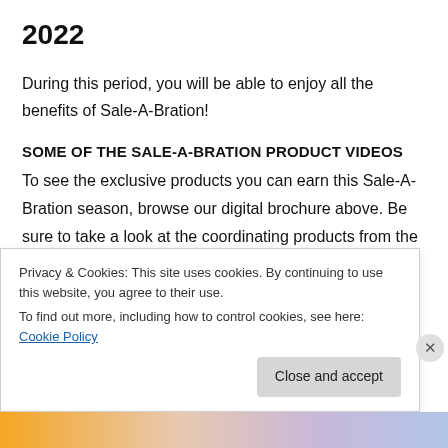2022
During this period, you will be able to enjoy all the benefits of Sale-A-Bration!
SOME OF THE SALE-A-BRATION PRODUCT VIDEOS
To see the exclusive products you can earn this Sale-A-Bration season, browse our digital brochure above. Be sure to take a look at the coordinating products from the July–December 2022 Mini Catalog you can pair with your
Privacy & Cookies: This site uses cookies. By continuing to use this website, you agree to their use.
To find out more, including how to control cookies, see here: Cookie Policy